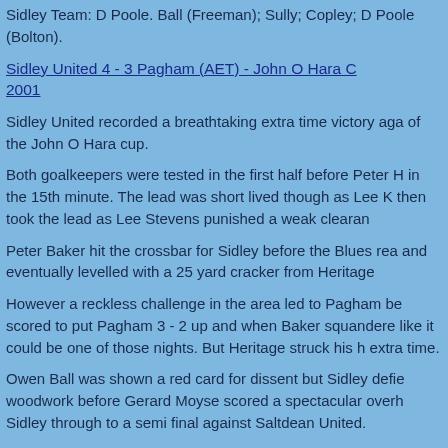Sidley Team: D Poole. Ball (Freeman); Sully; Copley; D Poole (Bolton).
Sidley United 4 - 3 Pagham (AET) - John O Hara C 2001
Sidley United recorded a breathtaking extra time victory aga of the John O Hara cup.
Both goalkeepers were tested in the first half before Peter H in the 15th minute. The lead was short lived though as Lee K then took the lead as Lee Stevens punished a weak clearance.
Peter Baker hit the crossbar for Sidley before the Blues real and eventually levelled with a 25 yard cracker from Heritage.
However a reckless challenge in the area led to Pagham be scored to put Pagham 3 - 2 up and when Baker squandered like it could be one of those nights. But Heritage struck his h extra time.
Owen Ball was shown a red card for dissent but Sidley defie woodwork before Gerard Moyse scored a spectacular overh Sidley through to a semi final against Saltdean United.
Sidley Team: D Poole; Sully; Farrier; B Poole; Copley (Moys